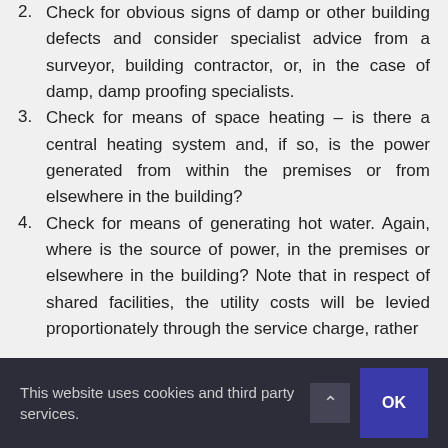2. Check for obvious signs of damp or other building defects and consider specialist advice from a surveyor, building contractor, or, in the case of damp, damp proofing specialists.
3. Check for means of space heating – is there a central heating system and, if so, is the power generated from within the premises or from elsewhere in the building?
4. Check for means of generating hot water. Again, where is the source of power, in the premises or elsewhere in the building? Note that in respect of shared facilities, the utility costs will be levied proportionately through the service charge, rather
This website uses cookies and third party services.